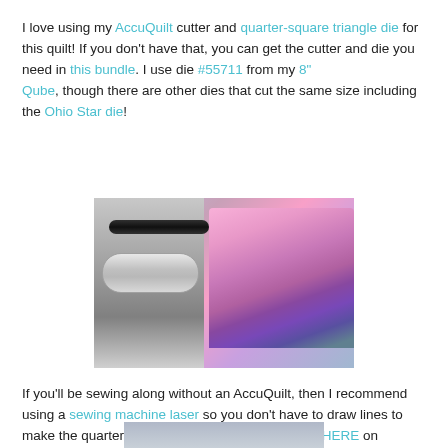I love using my AccuQuilt cutter and quarter-square triangle die for this quilt! If you don't have that, you can get the cutter and die you need in this bundle. I use die #55711 from my 8" Qube, though there are other dies that cut the same size including the Ohio Star die!
[Figure (photo): Photo of an AccuQuilt fabric cutter machine with a stack of pink, purple, and blue patterned fabrics on top of the cutting mat.]
If you'll be sewing along without an AccuQuilt, then I recommend using a sewing machine laser so you don't have to draw lines to make the quarter-square triangles. (You can get it HERE on Amazon too!)
[Figure (photo): Partial photo visible at the bottom of the page, appears to show another quilting tool or machine.]